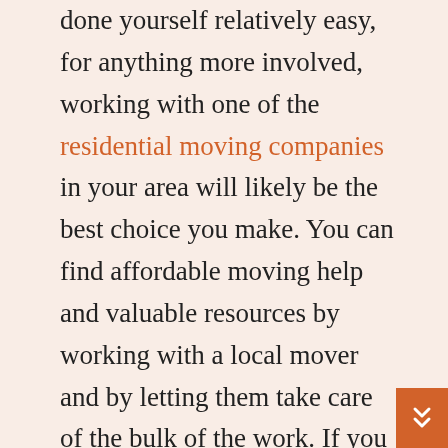done yourself relatively easy, for anything more involved, working with one of the residential moving companies in your area will likely be the best choice you make. You can find affordable moving help and valuable resources by working with a local mover and by letting them take care of the bulk of the work. If you want to know all about moving company services and options that are available to you, you can start by checking local listings and then doing an online search for local moving companies and contractors in your local area.

The best movers are those who will take time to explain everything to you and work with you to